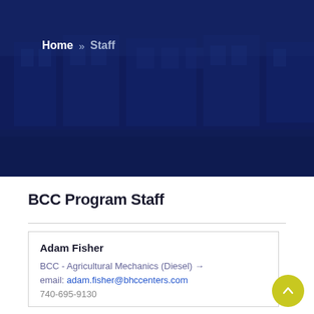[Figure (photo): Dark blue overlay hero image showing a building exterior with windows and grass in the foreground]
Home » Staff
BCC Program Staff
Adam Fisher
BCC - Agricultural Mechanics (Diesel) →
email: adam.fisher@bhccenters.com
740-695-9130